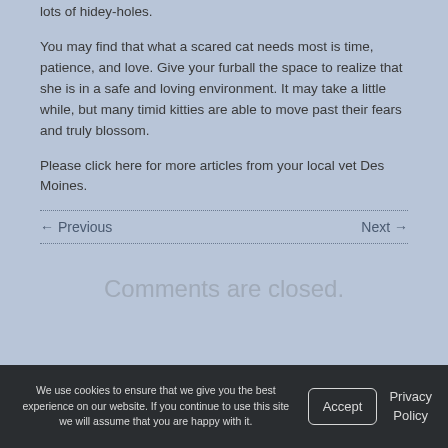lots of hidey-holes.
You may find that what a scared cat needs most is time, patience, and love. Give your furball the space to realize that she is in a safe and loving environment. It may take a little while, but many timid kitties are able to move past their fears and truly blossom.
Please click here for more articles from your local vet Des Moines.
← Previous
Next →
Comments are closed.
We use cookies to ensure that we give you the best experience on our website. If you continue to use this site we will assume that you are happy with it.
Accept
Privacy Policy